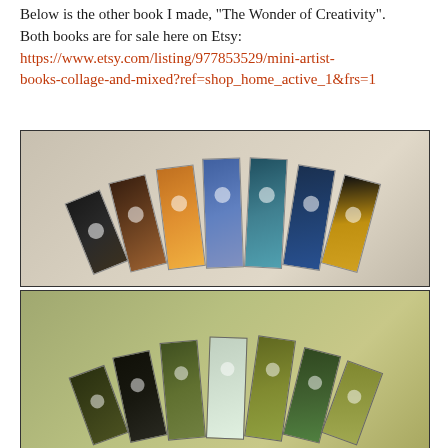Below is the other book I made, "The Wonder of Creativity". Both books are for sale here on Etsy: https://www.etsy.com/listing/977853529/mini-artist-books-collage-and-mixed?ref=shop_home_active_1&frs=1
[Figure (photo): Photo of an accordion-style mini artist book spread open, showing multiple colorful collage panels fanned out on a white surface. Panels include dark, brown, gold, blue, teal, dark, and yellow-patterned pages with circular punch holes.]
[Figure (photo): Photo of another accordion-style mini artist book spread open, showing multiple green and nature-themed collage panels fanned out. Panels include dark green, black, olive, light green, yellow-green tones with circular punch holes.]